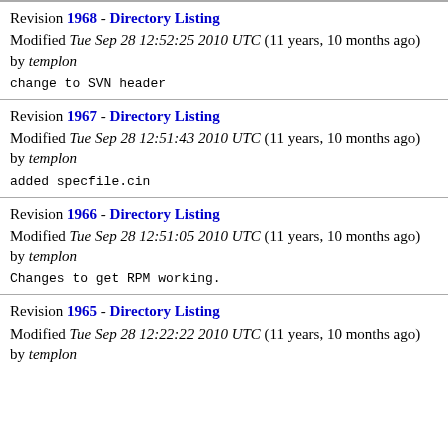Revision 1968 - Directory Listing
Modified Tue Sep 28 12:52:25 2010 UTC (11 years, 10 months ago) by templon
change to SVN header
Revision 1967 - Directory Listing
Modified Tue Sep 28 12:51:43 2010 UTC (11 years, 10 months ago) by templon
added specfile.cin
Revision 1966 - Directory Listing
Modified Tue Sep 28 12:51:05 2010 UTC (11 years, 10 months ago) by templon
Changes to get RPM working.
Revision 1965 - Directory Listing
Modified Tue Sep 28 12:22:22 2010 UTC (11 years, 10 months ago) by templon